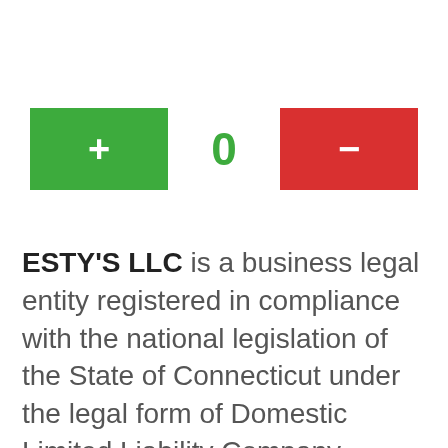[Figure (infographic): Interactive counter UI with a green plus button on the left, a green '0' counter in the center, and a red minus button on the right.]
ESTY'S LLC is a business legal entity registered in compliance with the national legislation of the State of Connecticut under the legal form of Domestic Limited Liability Company. Company is located in the register under the national Company number 844866. The incorporation date of this company is on 9th January 2006 and its headquarters can be found at 292 MAIN STREET, OLD SAYBROOK, CT, 06475. Actually the company´s status is